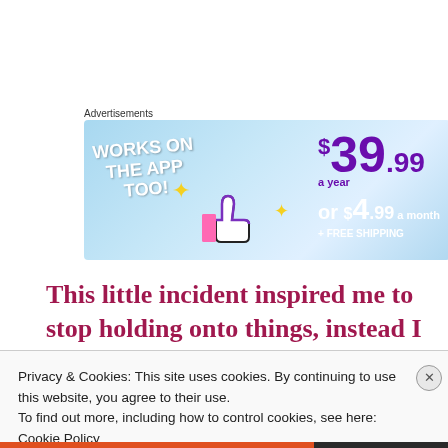Advertisements
[Figure (illustration): Advertisement banner with light blue background. Left side reads 'WORKS ON THE APP TOO!' in white bold text at an angle, with a thumbs-up icon and yellow sparkle/star decorations. Right side shows pricing: $39.99 a year in large purple text, or $4.99 a month in white, plus FREE SHIPPING.]
This little incident inspired me to stop holding onto things, instead I look for positive side of
Privacy & Cookies: This site uses cookies. By continuing to use this website, you agree to their use.
To find out more, including how to control cookies, see here: Cookie Policy